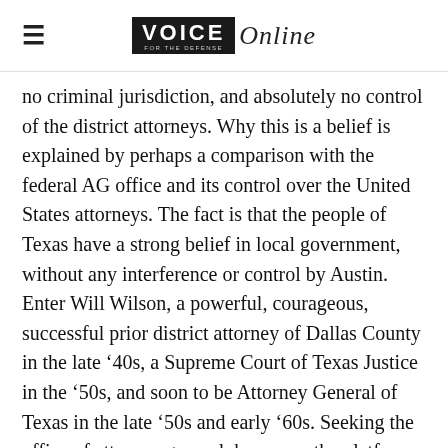VOICE Online
no criminal jurisdiction, and absolutely no control of the district attorneys. Why this is a belief is explained by perhaps a comparison with the federal AG office and its control over the United States attorneys. The fact is that the people of Texas have a strong belief in local government, without any interference or control by Austin. Enter Will Wilson, a powerful, courageous, successful prior district attorney of Dallas County in the late ’40s, a Supreme Court of Texas Justice in the ’50s, and soon to be Attorney General of Texas in the late ’50s and early ’60s. Seeking the office of attorney general, he ran on the platform that he could curb crime and punish criminals severely. He was elected overwhelmingly. The situation involving crime in Texas had changed, effected by the Vietnam War, the use of drugs among young people, the sexual revolution, and other forces, of which brought about a change of living and views of many